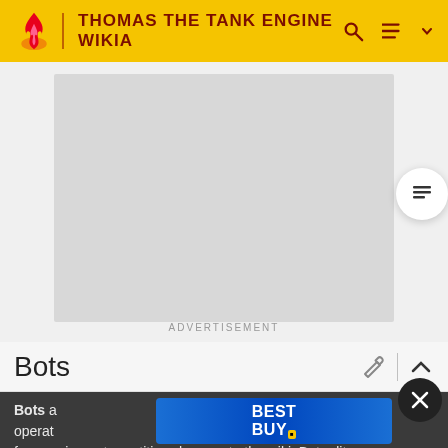THOMAS THE TANK ENGINE WIKIA
[Figure (other): Gray placeholder advertisement image area]
ADVERTISEMENT
Bots
Bots are automated software accounts operated ... used for carrying out repetitive changes to the wiki. Bot edits
[Figure (logo): Best Buy advertisement banner overlay with blue gradient background and yellow logo tag]